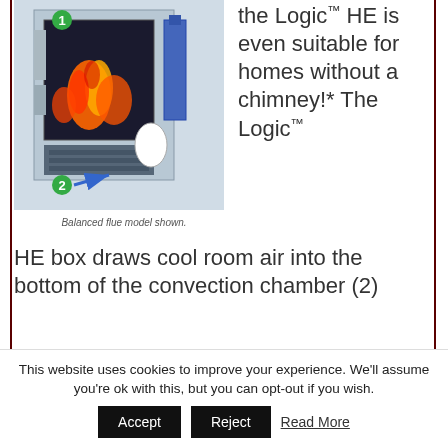[Figure (illustration): Cross-section illustration of the Logic HE boiler/fireplace unit showing internal components including fire, flue, and convection chamber. A green circle with number 1 and a green circle with number 2 are visible, with a blue arrow pointing to component 2 (balanced flue).]
Balanced flue model shown.
the Logic™ HE is even suitable for homes without a chimney!* The Logic™ HE box draws cool room air into the bottom of the convection chamber (2)
The cool air is warmed as it passes over the hot surfaces of the chamber
This website uses cookies to improve your experience. We'll assume you're ok with this, but you can opt-out if you wish.